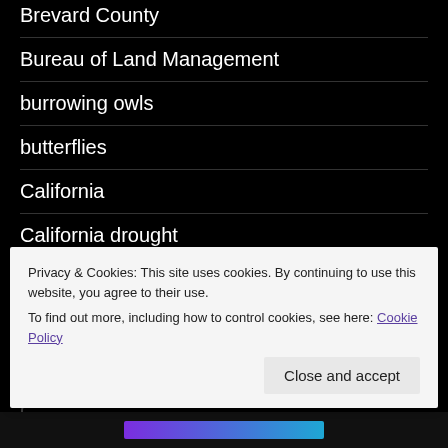Brevard County
Bureau of Land Management
burrowing owls
butterflies
California
California drought
canals
Cape Cod
Cascade Mountain Runners
Privacy & Cookies: This site uses cookies. By continuing to use this website, you agree to their use.
To find out more, including how to control cookies, see here: Cookie Policy
Close and accept